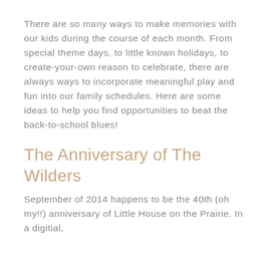There are so many ways to make memories with our kids during the course of each month. From special theme days, to little known holidays, to create-your-own reason to celebrate, there are always ways to incorporate meaningful play and fun into our family schedules. Here are some ideas to help you find opportunities to beat the back-to-school blues!
The Anniversary of The Wilders
September of 2014 happens to be the 40th (oh my!!) anniversary of Little House on the Prairie. In a digitial, technology-driven, fast-paced world, it is